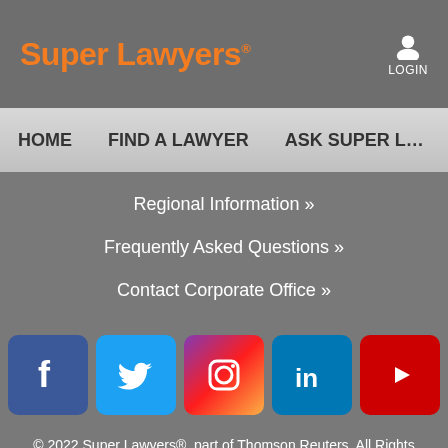Super Lawyers® LOGIN
HOME   FIND A LAWYER   ASK SUPER L…
Regional Information »
Frequently Asked Questions »
Contact Corporate Office »
[Figure (infographic): Row of five social media icons: Facebook, Twitter, Instagram, LinkedIn, YouTube]
© 2022 Super Lawyers®, part of Thomson Reuters. All Rights Reserved.
Terms & Conditions »  Privacy Policy »  Cookies »  Do Not Sell My Info »